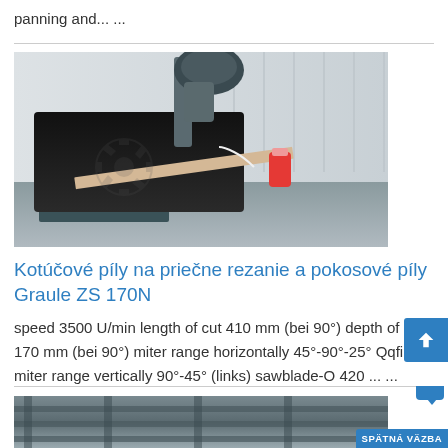panning and... ...
[Figure (photo): Photo of Graule ZS 170N circular cross-cut and miter saw machine on a workshop floor, showing the machine table, blade, and a coolant bottle]
Kotúčové píly na priečne rezanie a pokosové píly Graule ZS 170N
speed 3500 U/min length of cut 410 mm (bei 90°) depth of cut 170 mm (bei 90°) miter range horizontally 45°-90°-25° Qqfib miter range vertically 90°-45° (links) sawblade-O 420 ... ...
[Figure (photo): Partial photo of another machine or equipment at the bottom of the page]
SPÄTNÁ VÄZBA